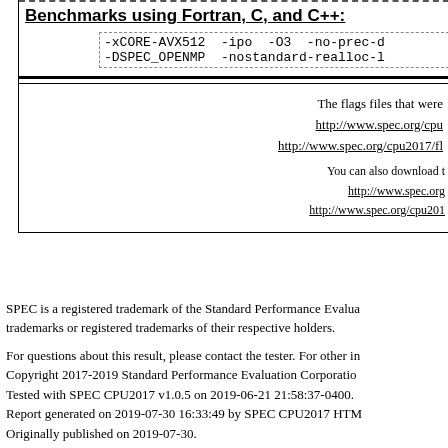Benchmarks using Fortran, C, and C++:
-xCORE-AVX512 -ipo -O3 -no-prec-d -DSPEC_OPENMP -nostandard-realloc-l
The flags files that were http://www.spec.org/cpu http://www.spec.org/cpu2017/fl
You can also download t http://www.spec.org http://www.spec.org/cpu201
SPEC is a registered trademark of the Standard Performance Evaluation Corporation. All other trademarks or registered trademarks of their respective holders.
For questions about this result, please contact the tester. For other information, contact info@spec.org. Copyright 2017-2019 Standard Performance Evaluation Corporation. Tested with SPEC CPU2017 v1.0.5 on 2019-06-21 21:58:37-0400. Report generated on 2019-07-30 16:33:49 by SPEC CPU2017 HTML formatter v1319. Originally published on 2019-07-30.